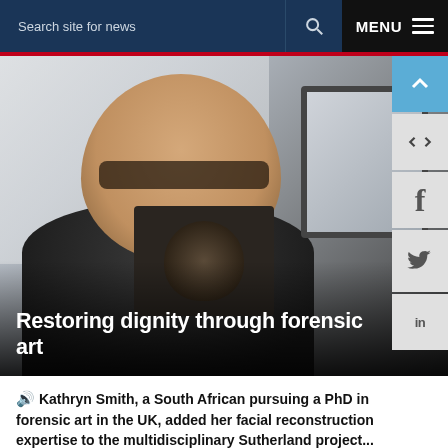Search site for news   MENU
[Figure (photo): Woman with short blonde hair and glasses, wearing a black top, holding a framed portrait/facial reconstruction image. A computer monitor is visible in the background to the right.]
Restoring dignity through forensic art
🔊 Kathryn Smith, a South African pursuing a PhD in forensic art in the UK, added her facial reconstruction expertise to the multidisciplinary Sutherland project...
04 NOV 2019 - 8 min read